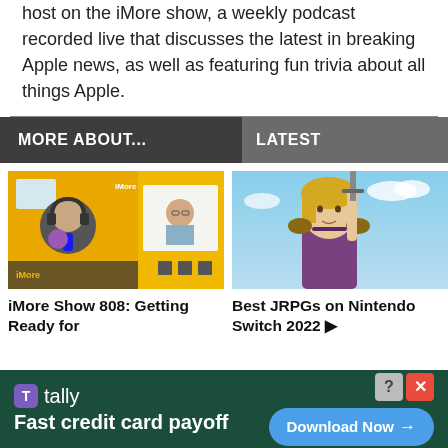host on the iMore show, a weekly podcast recorded live that discusses the latest in breaking Apple news, as well as featuring fun trivia about all things Apple.
MORE ABOUT...
LATEST
[Figure (photo): Thumbnail image of iMore Show podcast with two hosts visible in video call format on yellow background]
iMore Show 808: Getting Ready for
[Figure (photo): Screenshot of a JRPG character from Dragon Quest on Nintendo Switch, a blonde character holding a sword against a blue sky]
Best JRPGs on Nintendo Switch 2022 ▶
[Figure (infographic): Tally advertisement banner: Fast credit card payoff, Download Now button, dark green background]